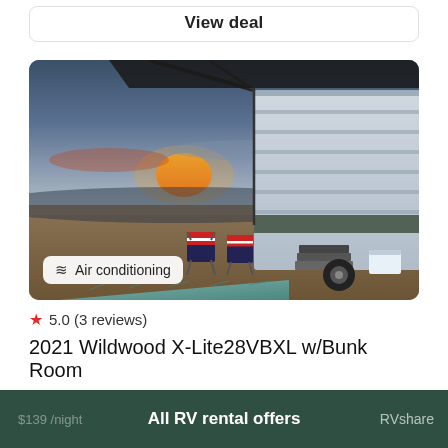View deal
[Figure (photo): Outdoor photo of a travel trailer RV parked in a flat field at sunset, with an awning extended, two folding chairs with American flag pattern, a decorative outdoor rug in teal/blue geometric pattern, and steps leading into the RV. A cooler is visible near the steps.]
Air conditioning
5.0 (3 reviews)
2021 Wildwood X-Lite28VBXL w/Bunk Room
All RV rental offers